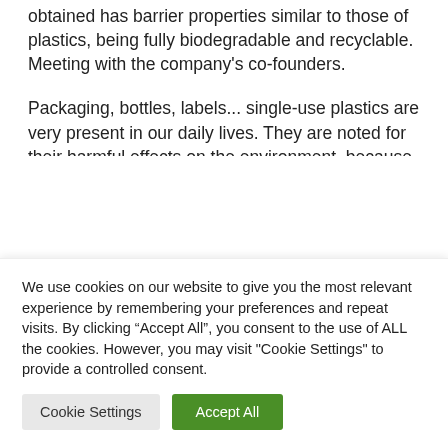obtained has barrier properties similar to those of plastics, being fully biodegradable and recyclable. Meeting with the company's co-founders.
Packaging, bottles, labels... single-use plastics are very present in our daily lives. They are noted for their harmful effects on the environment, because they do not disintegrate after use, but decompose into
We use cookies on our website to give you the most relevant experience by remembering your preferences and repeat visits. By clicking “Accept All”, you consent to the use of ALL the cookies. However, you may visit "Cookie Settings" to provide a controlled consent.
Cookie Settings
Accept All